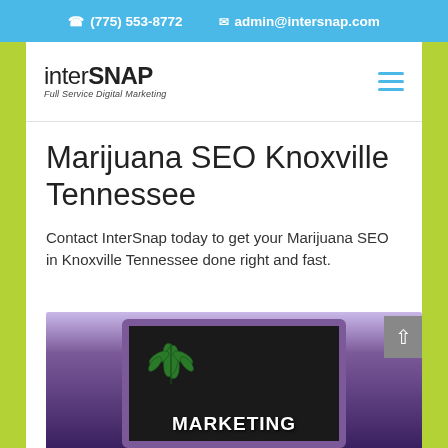(775) 553-8772  admin@intersnap.com
[Figure (logo): interSNAP Full Service Digital Marketing logo]
Marijuana SEO Knoxville Tennessee
Contact InterSnap today to get your Marijuana SEO in Knoxville Tennessee done right and fast.
[Figure (photo): Person holding a chalkboard sign with a marijuana leaf and text 'MARKETING']